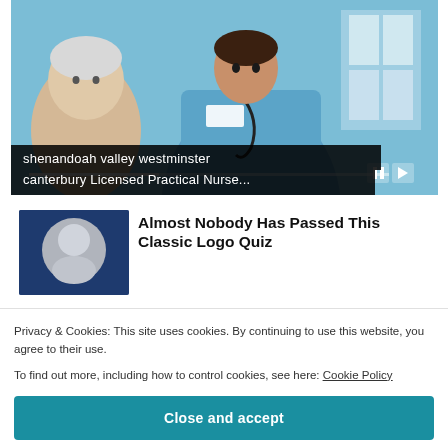[Figure (photo): Nurse in blue scrubs with stethoscope speaking with an elderly patient, slideshow with progress bar and play/pause controls]
shenandoah valley westminster canterbury Licensed Practical Nurse...
[Figure (photo): Advertisement thumbnail showing a circular logo/face on blue background]
Almost Nobody Has Passed This Classic Logo Quiz
Privacy & Cookies: This site uses cookies. By continuing to use this website, you agree to their use.
To find out more, including how to control cookies, see here: Cookie Policy
Close and accept
[Figure (photo): Star rating row at bottom of page, showing yellow and dark stars]